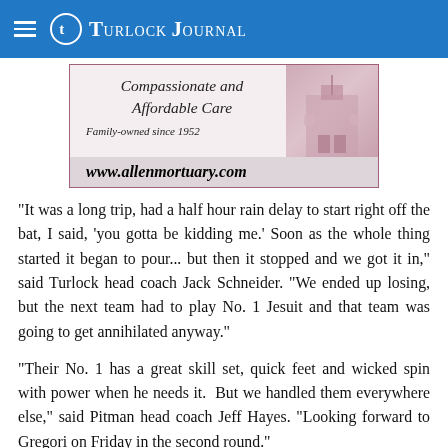Turlock Journal
[Figure (other): Allen Mortuary advertisement showing 'Compassionate and Affordable Care', 'Family-owned since 1952', and website www.allenmortuary.com with a decorative building image on the right side]
“It was a long trip, had a half hour rain delay to start right off the bat, I said, ‘you gotta be kidding me.’ Soon as the whole thing started it began to pour... but then it stopped and we got it in,” said Turlock head coach Jack Schneider. “We ended up losing, but the next team had to play No. 1 Jesuit and that team was going to get annihilated anyway.”
“Their No. 1 has a great skill set, quick feet and wicked spin with power when he needs it.  But we handled them everywhere else,” said Pitman head coach Jeff Hayes. “Looking forward to Gregori on Friday in the second round.”